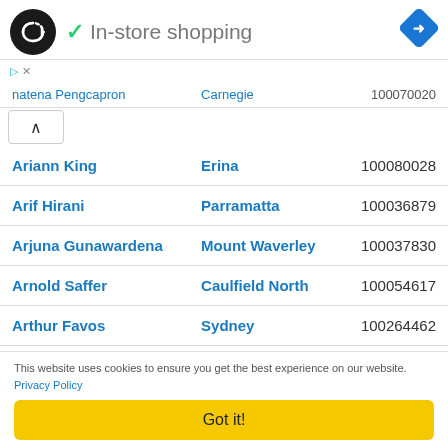[Figure (logo): Black circle logo with overlapping arrows/loops symbol (Codingame or similar), teal checkmark, 'In-store shopping' text, blue diamond arrow icon on right]
| Name | Location | ID |
| --- | --- | --- |
| natena Pengcapron | Carnegie | 100070020 |
| Ariann King | Erina | 100080028 |
| Arif Hirani | Parramatta | 100036879 |
| Arjuna Gunawardena | Mount Waverley | 100037830 |
| Arnold Saffer | Caulfield North | 100054617 |
| Arthur Favos | Sydney | 100264462 |
| Arthur Griffiths | Mullaloo | 100019716 |
This website uses cookies to ensure you get the best experience on our website. Privacy Policy
Got it!